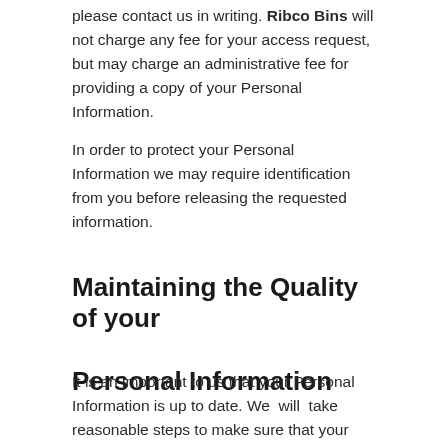please contact us in writing. Ribco Bins will not charge any fee for your access request, but may charge an administrative fee for providing a copy of your Personal Information.
In order to protect your Personal Information we may require identification from you before releasing the requested information.
Maintaining the Quality of your Personal Information
It is an important to us that your Personal Information is up to date. We  will  take reasonable steps to make sure that your Personal Information is accurate, complete and up-to-date. If you find that the information we have is not up to